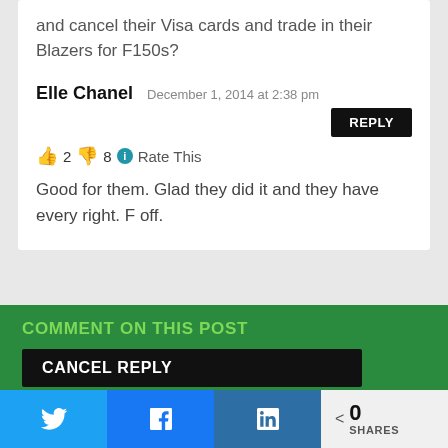and cancel their Visa cards and trade in their Blazers for F150s?
Elle Chanel   December 1, 2014 at 2:38 pm
REPLY
👍 2 👎 8 ℹ Rate This
Good for them. Glad they did it and they have every right. F off.
COMMENT ON THIS POST
CANCEL REPLY
0 SHARES